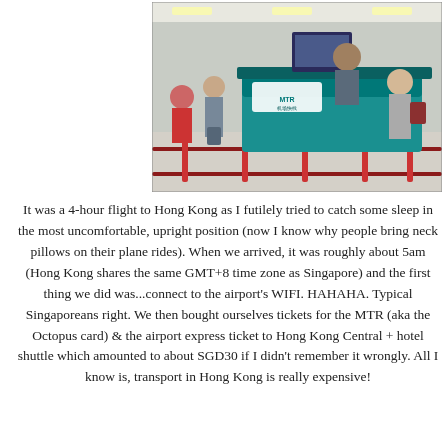[Figure (photo): Photo of an airport check-in or transit area, showing a queue of travelers at a counter with red rope barriers. A teal-colored MTR service desk is visible in the background with staff and passengers.]
It was a 4-hour flight to Hong Kong as I futilely tried to catch some sleep in the most uncomfortable, upright position (now I know why people bring neck pillows on their plane rides). When we arrived, it was roughly about 5am (Hong Kong shares the same GMT+8 time zone as Singapore) and the first thing we did was...connect to the airport's WIFI. HAHAHA. Typical Singaporeans right. We then bought ourselves tickets for the MTR (aka the Octopus card) & the airport express ticket to Hong Kong Central + hotel shuttle which amounted to about SGD30 if I didn't remember it wrongly. All I know is, transport in Hong Kong is really expensive!